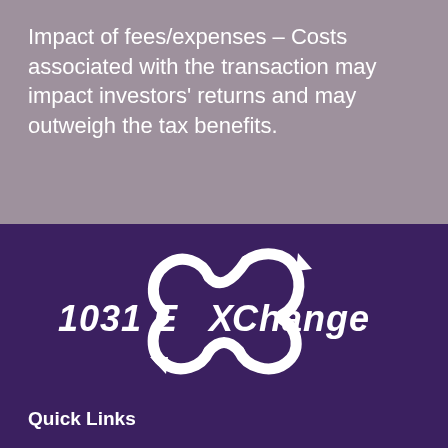Impact of fees/expenses – Costs associated with the transaction may impact investors' returns and may outweigh the tax benefits.
[Figure (logo): 1031 ExChange logo: stylized infinity/exchange arrows with the text '1031 ExChange' in white on dark purple background]
Quick Links